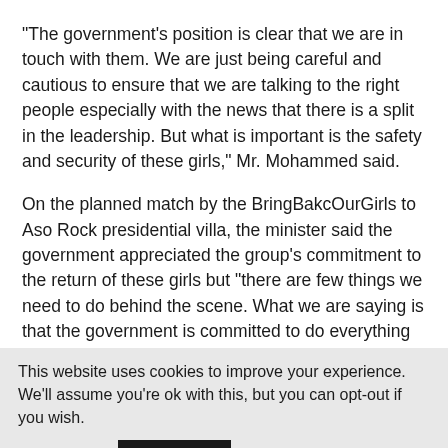"The government's position is clear that we are in touch with them. We are just being careful and cautious to ensure that we are talking to the right people especially with the news that there is a split in the leadership. But what is important is the safety and security of these girls," Mr. Mohammed said.
On the planned match by the BringBakcOurGirls to Aso Rock presidential villa, the minister said the government appreciated the group's commitment to the return of these girls but "there are few things we need to do behind the scene. What we are saying is that the government is committed to do everything to rescue these girls".
This website uses cookies to improve your experience. We'll assume you're ok with this, but you can opt-out if you wish.
Accept   Read More